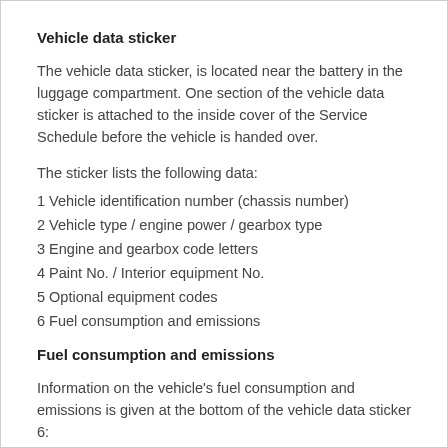Vehicle data sticker
The vehicle data sticker, is located near the battery in the luggage compartment. One section of the vehicle data sticker is attached to the inside cover of the Service Schedule before the vehicle is handed over.
The sticker lists the following data:
1 Vehicle identification number (chassis number)
2 Vehicle type / engine power / gearbox type
3 Engine and gearbox code letters
4 Paint No. / Interior equipment No.
5 Optional equipment codes
6 Fuel consumption and emissions
Fuel consumption and emissions
Information on the vehicle's fuel consumption and emissions is given at the bottom of the vehicle data sticker 6:
A Urban cycle consumption (ltr /100 km)